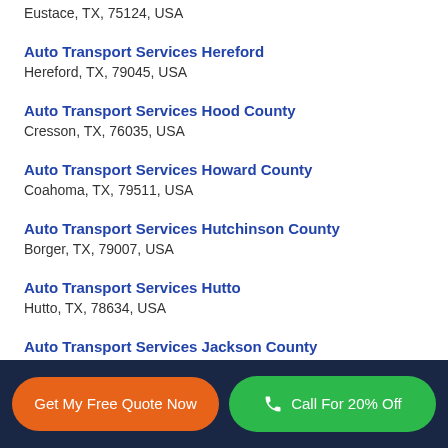Eustace, TX, 75124, USA
Auto Transport Services Hereford
Hereford, TX, 79045, USA
Auto Transport Services Hood County
Cresson, TX, 76035, USA
Auto Transport Services Howard County
Coahoma, TX, 79511, USA
Auto Transport Services Hutchinson County
Borger, TX, 79007, USA
Auto Transport Services Hutto
Hutto, TX, 78634, USA
Auto Transport Services Jackson County
Edna, TX, 77957, USA
Get My Free Quote Now | Call For 20% Off